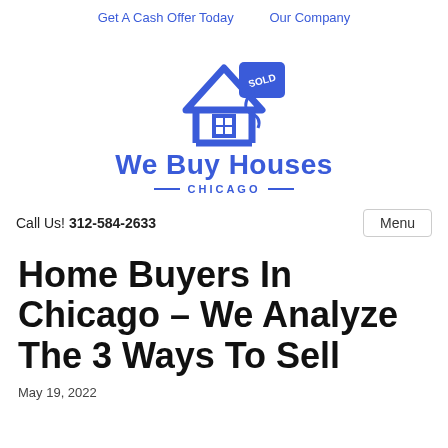Get A Cash Offer Today   Our Company
[Figure (logo): We Buy Houses Chicago logo: blue house icon with a SOLD price tag, text 'We Buy Houses' in large blue bold font, 'CHICAGO' in spaced blue caps with decorative lines on either side.]
Call Us! 312-584-2633
Menu
Home Buyers In Chicago – We Analyze The 3 Ways To Sell
May 19, 2022